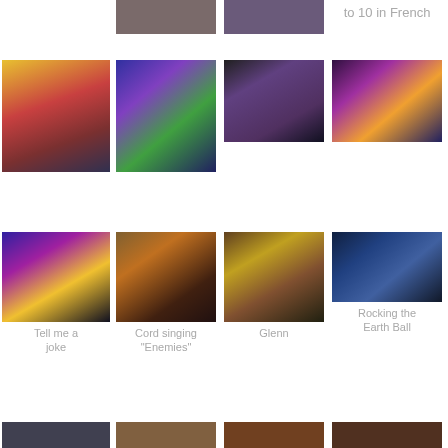[Figure (photo): Partial photo of person at top, cut off]
[Figure (photo): Partial photo at top, cut off]
to 10 in French
[Figure (photo): Drummer with colorful backdrop at music festival]
[Figure (photo): Guitarist on stage with colorful lights]
[Figure (photo): Female vocalist with guitar on stage]
[Figure (photo): Performer with colorful outfit on outdoor stage]
[Figure (photo): Female performer bending on stage with child audience]
Tell me a joke
[Figure (photo): Male guitarist singing indoors]
Cord singing "Enemies"
[Figure (photo): Person playing keyboard/piano]
Glenn
[Figure (photo): Indoor venue with globe decoration and crowd]
Rocking the Earth Ball
[Figure (photo): Bottom row photo 1, partially visible]
[Figure (photo): Bottom row photo 2, partially visible]
[Figure (photo): Bottom row photo 3, partially visible]
[Figure (photo): Bottom row photo 4, partially visible]